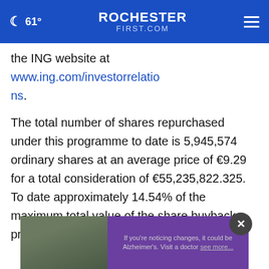61° ROCHESTER FIRST.COM
the ING website at www.ing.com/investorrelations.
The total number of shares repurchased under this programme to date is 5,945,574 ordinary shares at an average price of €9.29 for a total consideration of €55,235,822.325. To date approximately 14.54% of the maximum total value of the share buyback programme has been completed.
[Figure (photo): Advertisement banner showing two men outdoors with purple Alzheimer's awareness overlay text: 'If you're noticing changes, it could be Alzheimer's. Visit a doctor...']